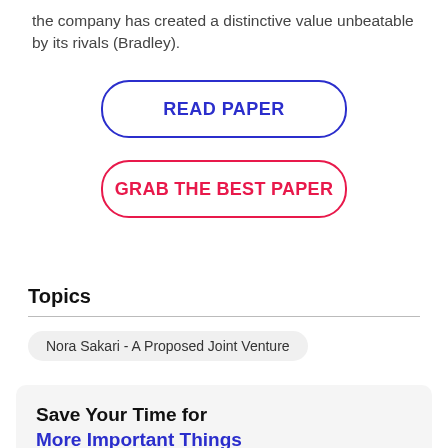the company has created a distinctive value unbeatable by its rivals (Bradley).
[Figure (other): Button labeled READ PAPER with blue rounded border]
[Figure (other): Button labeled GRAB THE BEST PAPER with pink/red rounded border]
Topics
Nora Sakari - A Proposed Joint Venture
Save Your Time for More Important Things